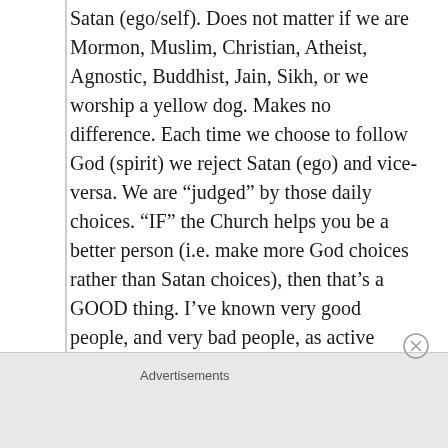Satan (ego/self). Does not matter if we are Mormon, Muslim, Christian, Atheist, Agnostic, Buddhist, Jain, Sikh, or we worship a yellow dog. Makes no difference. Each time we choose to follow God (spirit) we reject Satan (ego) and vice-versa. We are “judged” by those daily choices. “IF” the Church helps you be a better person (i.e. make more God choices rather than Satan choices), then that’s a GOOD thing. I’ve known very good people, and very bad people, as active Mormons, and everything in between. For some people, the Church helps them be good. For others, the Church does NOT good at all for them, because they keep choosing the
Advertisements